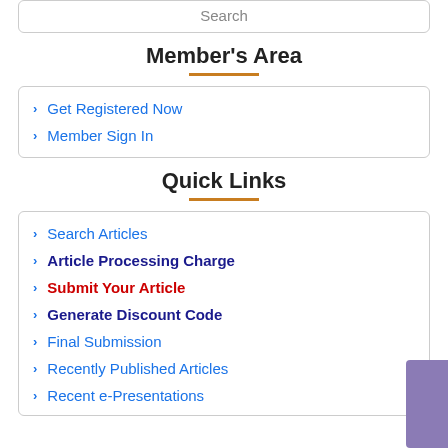Search
Member's Area
Get Registered Now
Member Sign In
Quick Links
Search Articles
Article Processing Charge
Submit Your Article
Generate Discount Code
Final Submission
Recently Published Articles
Recent e-Presentations